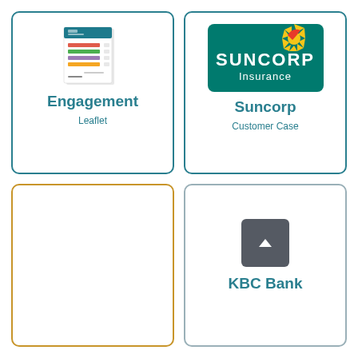[Figure (illustration): Card with a leaflet/brochure thumbnail image, teal border, title 'Engagement', subtitle 'Leaflet']
Engagement
Leaflet
[Figure (logo): Suncorp Insurance logo on teal background with sun/bird graphic]
Suncorp
Customer Case
[Figure (other): Empty card with gold/amber border (bottom-left, partially visible)]
[Figure (logo): KBC Bank card with gray border, dark gray button with upward arrow, text 'KBC Bank']
KBC Bank